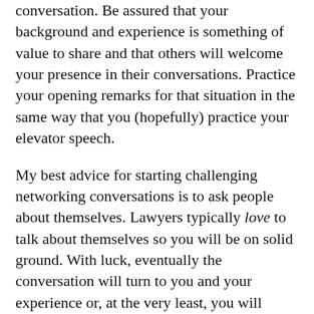conversation. Be assured that your background and experience is something of value to share and that others will welcome your presence in their conversations. Practice your opening remarks for that situation in the same way that you (hopefully) practice your elevator speech.
My best advice for starting challenging networking conversations is to ask people about themselves. Lawyers typically love to talk about themselves so you will be on solid ground. With luck, eventually the conversation will turn to you and your experience or, at the very least, you will exchange contact information with those you have met.
Networking is a process, and it is critically important. Having a professional network can lead to